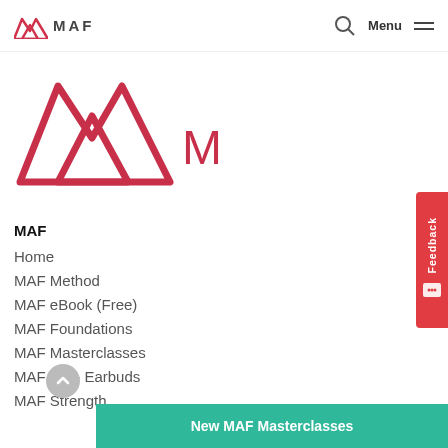MAF — Menu
[Figure (logo): MAF logo — large pink/red mountain double-M symbol with MAF text]
MAF
Home
MAF Method
MAF eBook (Free)
MAF Foundations
MAF Masterclasses
MAF HR+ Earbuds
MAF Strength
MAF Supplements
MAF Articles & Podcasts
New MAF Masterclasses